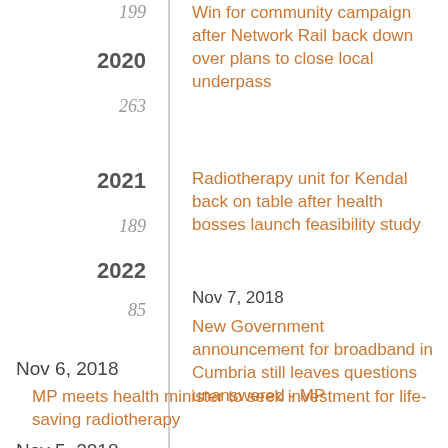199
2020
263
2021
189
2022
85
Win for community campaign after Network Rail back down over plans to close local underpass
Radiotherapy unit for Kendal back on table after health bosses launch feasibility study
Nov 7, 2018
New Government announcement for broadband in Cumbria still leaves questions unanswered - MP
Nov 6, 2018
MP meets health minister to seek investment for life-saving radiotherapy
Nov 5, 2018